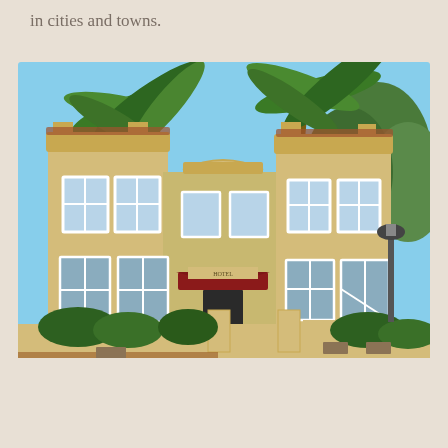in cities and towns.
[Figure (photo): A two-story Spanish/Mediterranean style building with yellow stucco exterior, red tile roof accents, arched windows, a dark red awning over the entrance, palm trees in front, and a low stucco wall along the street. Blue sky in the background.]
[Figure (other): A circular grey scroll-to-top button with an upward chevron arrow icon, positioned in the lower right corner of the page.]